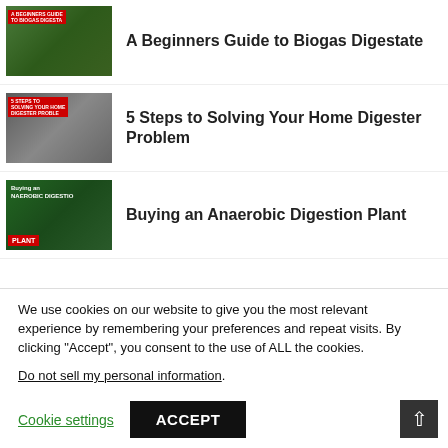A Beginners Guide to Biogas Digestate
5 Steps to Solving Your Home Digester Problem
Buying an Anaerobic Digestion Plant
We use cookies on our website to give you the most relevant experience by remembering your preferences and repeat visits. By clicking “Accept”, you consent to the use of ALL the cookies.
Do not sell my personal information.
Cookie settings
ACCEPT